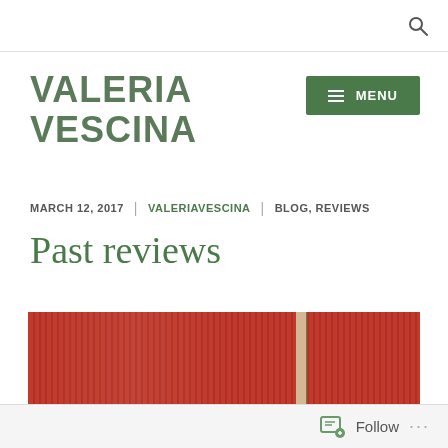VALERIA VESCINA
MARCH 12, 2017 | VALERIAVESCINA | BLOG, REVIEWS
Past reviews
[Figure (photo): Close-up photo of red vertical stripes or rods, possibly a curtain or spine of books, with a small cream-colored gap/opening visible.]
Follow ...